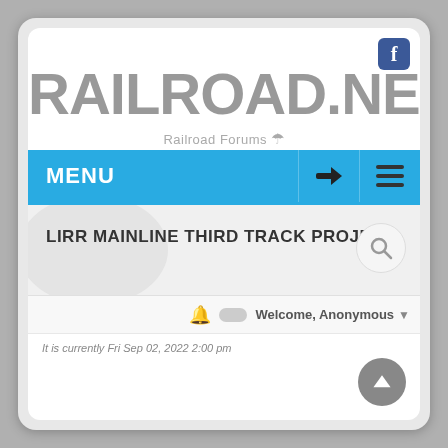[Figure (screenshot): Railroad.net website screenshot showing logo, menu bar, forum topic title, and welcome bar]
RAILROAD.NET
Railroad Forums
MENU
LIRR MAINLINE THIRD TRACK PROJECT
Welcome, Anonymous
It is currently Fri Sep 02, 2022 2:00 pm